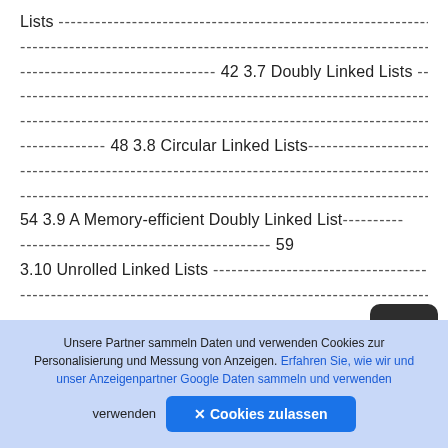Lists ----------------------------------------------------------------
----------------------------------------------------------------------
-------------------------------- 42 3.7 Doubly Linked Lists -----
----------------------------------------------------------------------
----------------------------------------------------------------------
-------------- 48 3.8 Circular Linked Lists-----------------------
----------------------------------------------------------------------
----------------------------------------------------------------------
54 3.9 A Memory-efficient Doubly Linked List----------
----------------------------------------- 59
3.10 Unrolled Linked Lists ------------------------------------
----------------------------------------------------------------------
Unsere Partner sammeln Daten und verwenden Cookies zur Personalisierung und Messung von Anzeigen. Erfahren Sie, wie wir und unser Anzeigenpartner Google Daten sammeln und verwenden
✕ Cookies zulassen